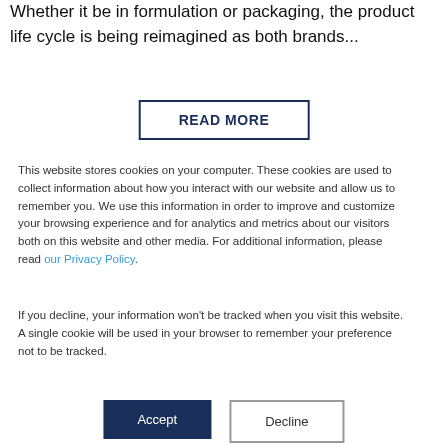Whether it be in formulation or packaging, the product life cycle is being reimagined as both brands...
READ MORE
This website stores cookies on your computer. These cookies are used to collect information about how you interact with our website and allow us to remember you. We use this information in order to improve and customize your browsing experience and for analytics and metrics about our visitors both on this website and other media. For additional information, please read our Privacy Policy.
If you decline, your information won't be tracked when you visit this website. A single cookie will be used in your browser to remember your preference not to be tracked.
Accept
Decline